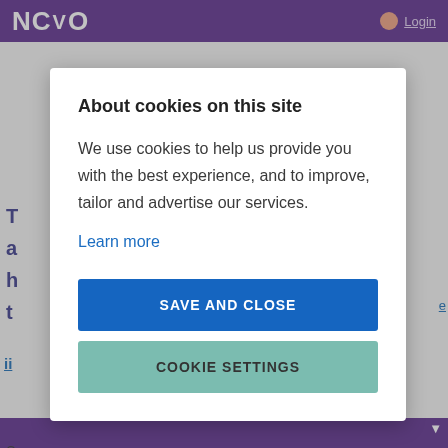NCVO Login
About cookies on this site
We use cookies to help us provide you with the best experience, and to improve, tailor and advertise our services.
Learn more
SAVE AND CLOSE
COOKIE SETTINGS